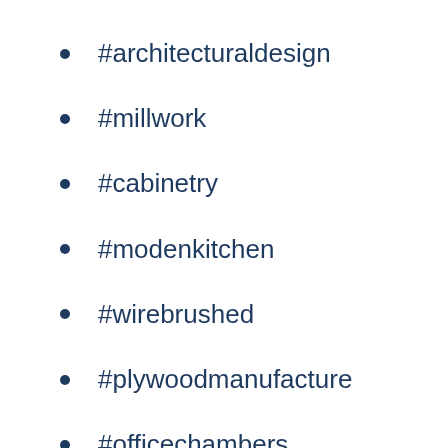#architecturaldesign
#millwork
#cabinetry
#modenkitchen
#wirebrushed
#plywoodmanufacture
#officechambers